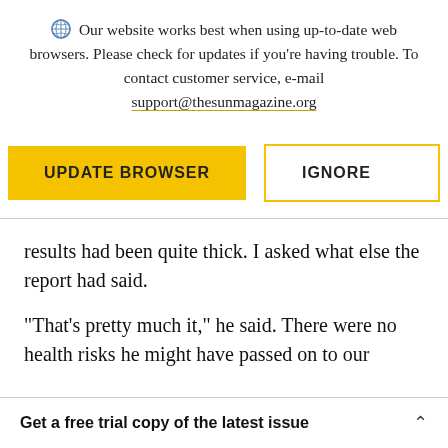Our website works best when using up-to-date web browsers. Please check for updates if you're having trouble. To contact customer service, e-mail support@thesunmagazine.org
[Figure (other): Two buttons: a yellow filled button labeled UPDATE BROWSER and a yellow-outlined button labeled IGNORE]
results had been quite thick. I asked what else the report had said.
“That’s pretty much it,” he said. There were no health risks he might have passed on to our
Get a free trial copy of the latest issue